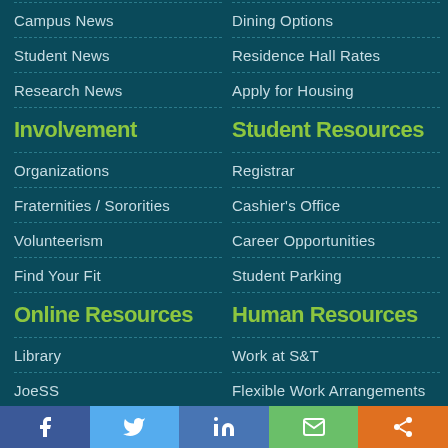Campus News
Dining Options
Student News
Residence Hall Rates
Research News
Apply for Housing
Involvement
Student Resources
Organizations
Registrar
Fraternities / Sororities
Cashier's Office
Volunteerism
Career Opportunities
Find Your Fit
Student Parking
Online Resources
Human Resources
Library
Work at S&T
JoeSS
Flexible Work Arrangements
Canvas
myHR